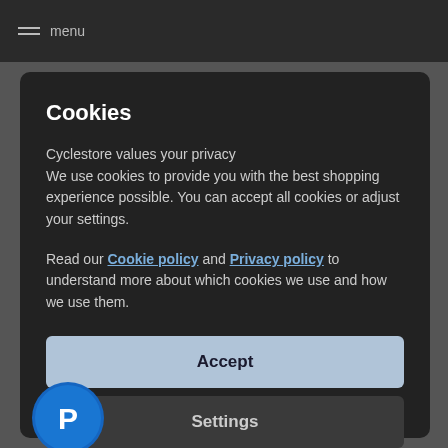menu
Cookies
Cyclestore values your privacy
We use cookies to provide you with the best shopping experience possible. You can accept all cookies or adjust your settings.
Read our Cookie policy and Privacy policy to understand more about which cookies we use and how we use them.
Accept
Settings